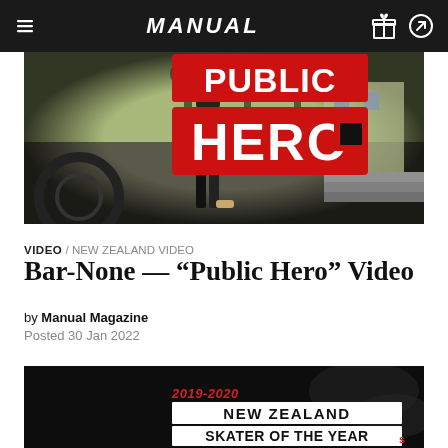MANUAL
[Figure (photo): Outdoor skate/BMX scene with 'PUBLIC HERO' text overlaid in large red block letters on a fisheye-lens photo]
VIDEO / NEW ZEALAND VIDEO
Bar-None — “Public Hero” Video
by Manual Magazine
Posted 30 Jan 2022
[Figure (photo): Black and white skate photo with stylized text overlay reading '2019-2020 NEW ZEALAND SKATER OF THE YEAR']